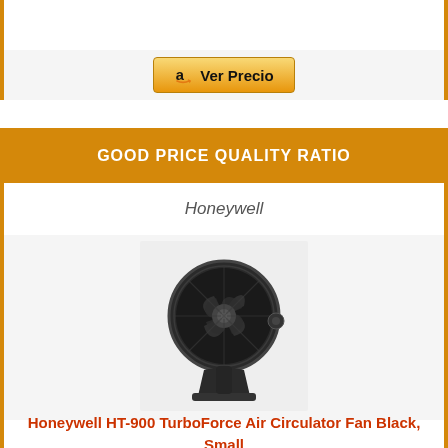[Figure (other): Amazon 'Ver Precio' button with Amazon logo]
GOOD PRICE QUALITY RATIO
Honeywell
[Figure (photo): Honeywell HT-900 TurboForce Air Circulator Fan Black, Small — a dark/black electric desk fan with circular blade housing and stand]
Honeywell HT-900 TurboForce Air Circulator Fan Black, Small